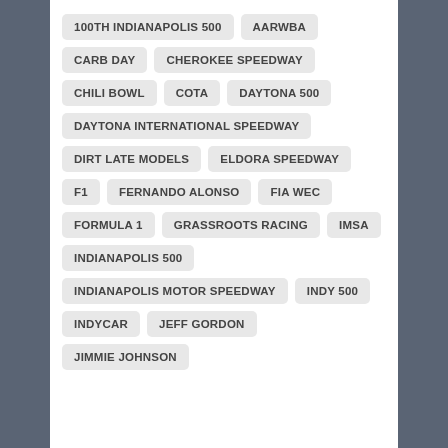100TH INDIANAPOLIS 500
AARWBA
CARB DAY
CHEROKEE SPEEDWAY
CHILI BOWL
COTA
DAYTONA 500
DAYTONA INTERNATIONAL SPEEDWAY
DIRT LATE MODELS
ELDORA SPEEDWAY
F1
FERNANDO ALONSO
FIA WEC
FORMULA 1
GRASSROOTS RACING
IMSA
INDIANAPOLIS 500
INDIANAPOLIS MOTOR SPEEDWAY
INDY 500
INDYCAR
JEFF GORDON
JIMMIE JOHNSON